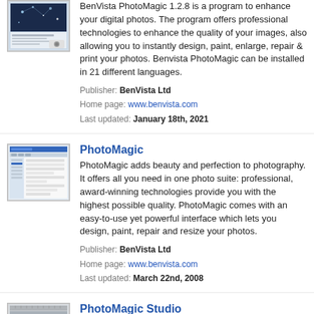[Figure (screenshot): Thumbnail of BenVista PhotoMagic application]
BenVista PhotoMagic 1.2.8 is a program to enhance your digital photos. The program offers professional technologies to enhance the quality of your images, also allowing you to instantly design, paint, enlarge, repair & print your photos. Benvista PhotoMagic can be installed in 21 different languages.
Publisher: BenVista Ltd
Home page: www.benvista.com
Last updated: January 18th, 2021
[Figure (screenshot): Thumbnail of PhotoMagic application]
PhotoMagic
PhotoMagic adds beauty and perfection to photography. It offers all you need in one photo suite: professional, award-winning technologies provide you with the highest possible quality. PhotoMagic comes with an easy-to-use yet powerful interface which lets you design, paint, repair and resize your photos.
Publisher: BenVista Ltd
Home page: www.benvista.com
Last updated: March 22nd, 2008
[Figure (screenshot): Thumbnail of PhotoMagic Studio application]
PhotoMagic Studio
PhotoMagic Studio is amazing photo editing software. Main